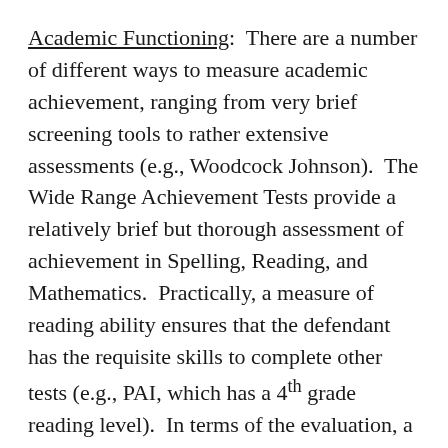Academic Functioning:  There are a number of different ways to measure academic achievement, ranging from very brief screening tools to rather extensive assessments (e.g., Woodcock Johnson).  The Wide Range Achievement Tests provide a relatively brief but thorough assessment of achievement in Spelling, Reading, and Mathematics.  Practically, a measure of reading ability ensures that the defendant has the requisite skills to complete other tests (e.g., PAI, which has a 4th grade reading level).  In terms of the evaluation, a measure of academic achievement allows for the diagnosis or ruling-out of learning disabilities, which will guide decisions about